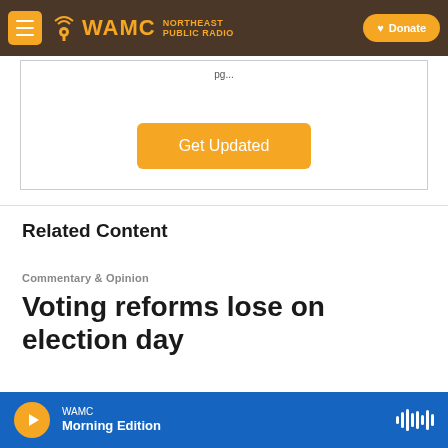WAMC Northeast Public Radio — Donate
[Figure (screenshot): Get Updated subscription box with orange button]
Related Content
Commentary & Opinion
Voting reforms lose on election day
Blair Horner · November 8, 2021
WAMC Morning Edition — audio player